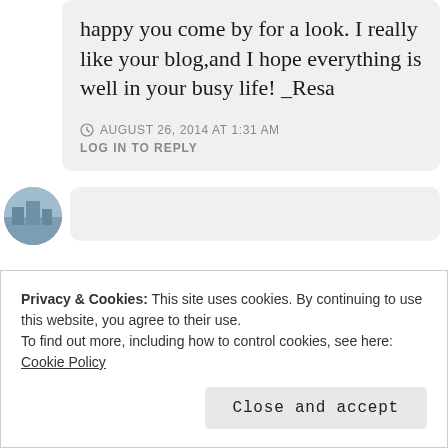happy you come by for a look. I really like your blog,and I hope everything is well in your busy life! _Resa
AUGUST 26, 2014 AT 1:31 AM
LOG IN TO REPLY
[Figure (photo): Partially visible circular avatar photo of a cityscape/building scene]
Privacy & Cookies: This site uses cookies. By continuing to use this website, you agree to their use.
To find out more, including how to control cookies, see here: Cookie Policy
Close and accept